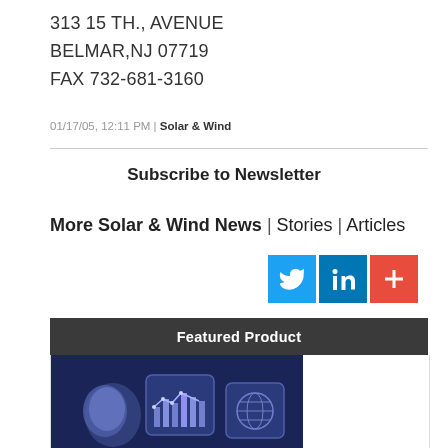313 15 TH., AVENUE
BELMAR,NJ 07719
FAX 732-681-3160
01/17/05, 12:11 PM | Solar & Wind
Subscribe to Newsletter
More Solar & Wind News | Stories | Articles
[Figure (other): Social media icons: Twitter (blue bird), LinkedIn (blue), and a red plus button]
Featured Product
[Figure (illustration): Dark blue background illustration showing 3D mobile/app icons including a chart/analytics icon, a globe icon, and an abstract shape, representing a featured digital product]